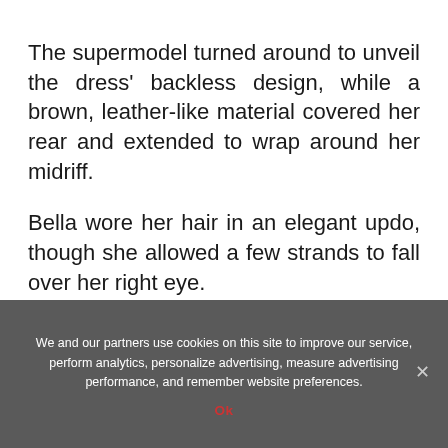The supermodel turned around to unveil the dress' backless design, while a brown, leather-like material covered her rear and extended to wrap around her midriff.
Bella wore her hair in an elegant updo, though she allowed a few strands to fall over her right eye.
She opted for a bold, winged eyeliner make-
We and our partners use cookies on this site to improve our service, perform analytics, personalize advertising, measure advertising performance, and remember website preferences.
Ok